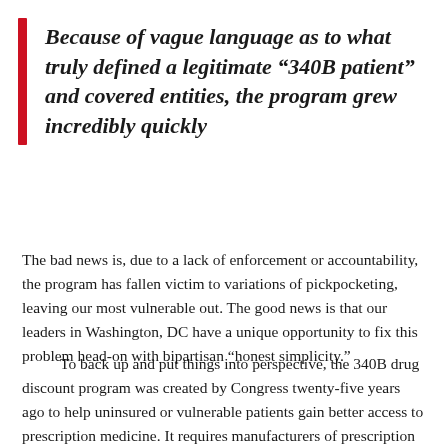Because of vague language as to what truly defined a legitimate “340B patient” and covered entities, the program grew incredibly quickly
The bad news is, due to a lack of enforcement or accountability, the program has fallen victim to variations of pickpocketing, leaving our most vulnerable out. The good news is that our leaders in Washington, DC have a unique opportunity to fix this problem head-on with bipartisan “honest simplicity.”
To back up and put things into perspective, the 340B drug discount program was created by Congress twenty-five years ago to help uninsured or vulnerable patients gain better access to prescription medicine. It requires manufacturers of prescription